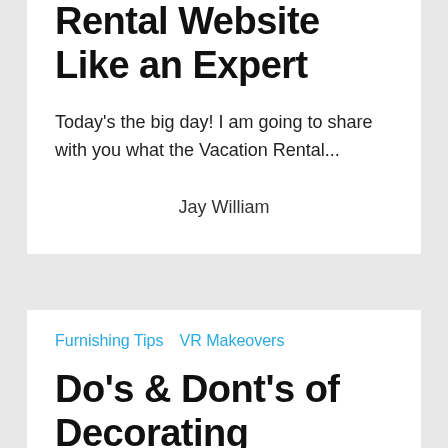Rental Website Like an Expert
Today's the big day! I am going to share with you what the Vacation Rental...
Jay William
Furnishing Tips  VR Makeovers
Do's & Dont's of Decorating Vacation Rental